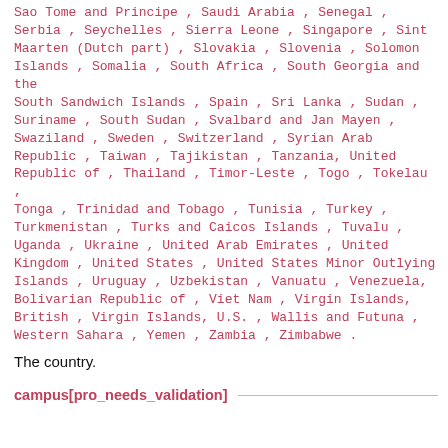Sao Tome and Principe , Saudi Arabia , Senegal , Serbia , Seychelles , Sierra Leone , Singapore , Sint Maarten (Dutch part) , Slovakia , Slovenia , Solomon Islands , Somalia , South Africa , South Georgia and the South Sandwich Islands , Spain , Sri Lanka , Sudan , Suriname , South Sudan , Svalbard and Jan Mayen , Swaziland , Sweden , Switzerland , Syrian Arab Republic , Taiwan , Tajikistan , Tanzania, United Republic of , Thailand , Timor-Leste , Togo , Tokelau , Tonga , Trinidad and Tobago , Tunisia , Turkey , Turkmenistan , Turks and Caicos Islands , Tuvalu , Uganda , Ukraine , United Arab Emirates , United Kingdom , United States , United States Minor Outlying Islands , Uruguay , Uzbekistan , Vanuatu , Venezuela, Bolivarian Republic of , Viet Nam , Virgin Islands, British , Virgin Islands, U.S. , Wallis and Futuna , Western Sahara , Yemen , Zambia , Zimbabwe .
The country.
campus[pro_needs_validation]